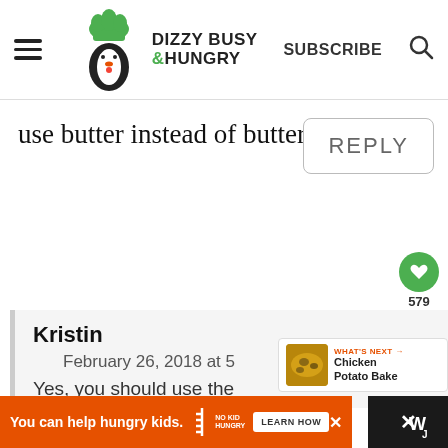[Figure (logo): Dizzy Busy & Hungry logo with penguin chef wearing green hat]
SUBSCRIBE
use butter instead of butter spread?
REPLY
579
Kristin
February 26, 2018 at 5
Yes, you should use the
WHAT'S NEXT → Chicken Potato Bake
You can help hungry kids.
LEARN HOW